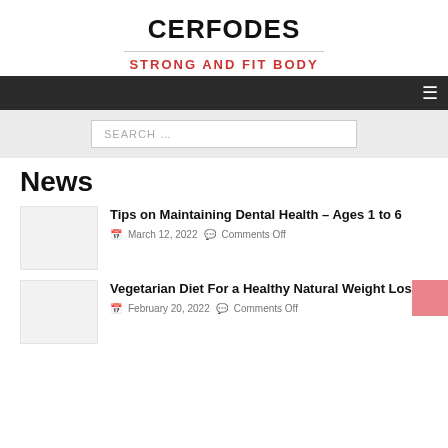CERFODES
STRONG AND FIT BODY
Navigation bar with hamburger menu icon
SEARCH ...
News
Tips on Maintaining Dental Health – Ages 1 to 6
March 12, 2022  Comments Off
Vegetarian Diet For a Healthy Natural Weight Loss
February 20, 2022  Comments Off